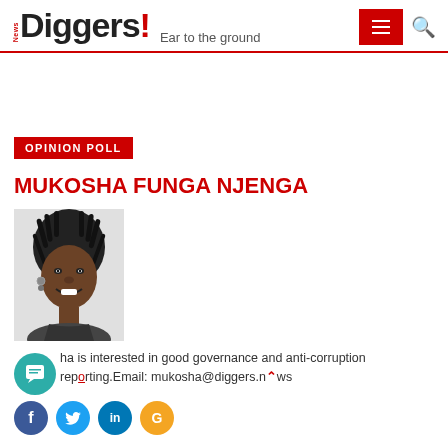News Diggers! Ear to the ground
OPINION POLL
MUKOSHA FUNGA NJENGA
[Figure (photo): Black and white portrait photo of Mukosha Funga Njenga, a woman with dreadlocks, smiling]
Mukosha is interested in good governance and anti-corruption reporting. Email: mukosha@diggers.news